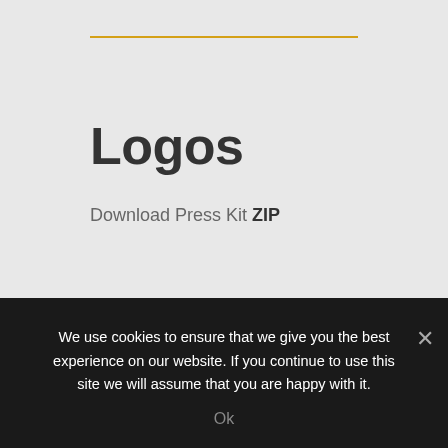Logos
Download Press Kit ZIP
[Figure (logo): Partial view of a gold/yellow distressed-style logo text, showing letters 'GOLD' partially cropped at the bottom of the page]
We use cookies to ensure that we give you the best experience on our website. If you continue to use this site we will assume that you are happy with it.
Ok